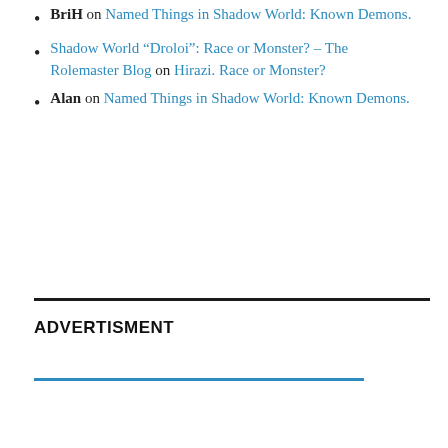BriH on Named Things in Shadow World: Known Demons.
Shadow World “Droloi”: Race or Monster? – The Rolemaster Blog on Hirazi. Race or Monster?
Alan on Named Things in Shadow World: Known Demons.
ADVERTISMENT